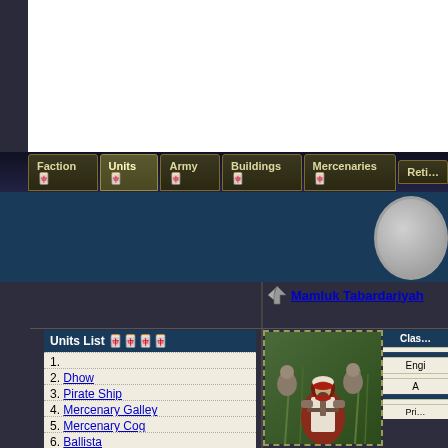[Figure (screenshot): Top white content area of a game wiki page]
Faction | Units | Army | Buildings | Mercenaries | Reti...
[Figure (screenshot): Dark blue header band with coin icon]
Units List
1.
2. Dhow
3. Pirate Ship
4. Mercenary Galley
5. Mercenary Cog
6. Ballista
7. Catapult
8. Trebuchet
9. Royal Ghulam Lancers
Mamluk Tabardariyah
[Figure (screenshot): Image of medieval soldiers/warriors in a game]
| Clas... |
| --- |
| Engi |
| A |